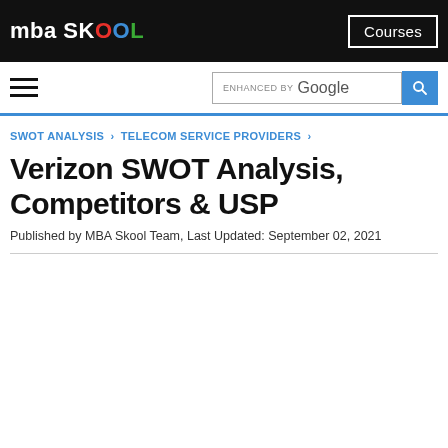mba SKOOL | Courses
SWOT ANALYSIS › TELECOM SERVICE PROVIDERS ›
Verizon SWOT Analysis, Competitors & USP
Published by MBA Skool Team, Last Updated: September 02, 2021